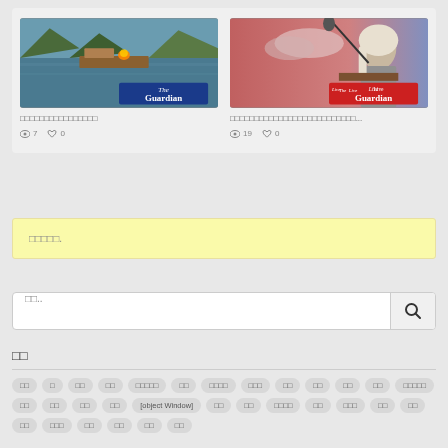[Figure (screenshot): Two video thumbnail cards. Left: river/canal scene with barge, The Guardian logo overlay. Right: woman at podium microphone, The Live Guardian logo overlay.]
□□□□□□□□□□□□□□□□
👁 7  ♥ 0
□□□□□□□□□□□□□□□□□□□□□□□□□□...
👁 19  ♥ 0
□□□□□.
□□..
□□
□□ □ □□ □□ □□□□□ □□ □□□□ □□□
□□ □□ □□ □□ □□□□□ □□ □□ □□
□□ [object Window] □□ □□ □□□□ □□
□□□ □□ □□ □□□ □□ □□ □□ □□